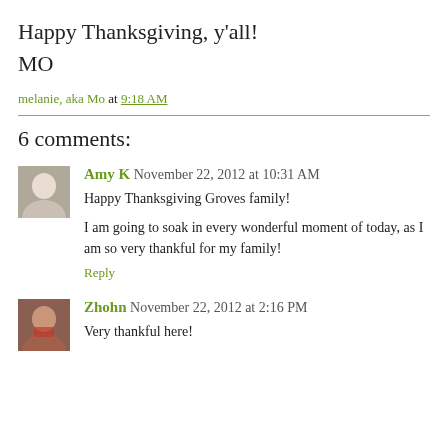Happy Thanksgiving, y'all!
MO
melanie, aka Mo at 9:18 AM
6 comments:
Amy K November 22, 2012 at 10:31 AM
Happy Thanksgiving Groves family!
I am going to soak in every wonderful moment of today, as I am so very thankful for my family!
Reply
Zhohn November 22, 2012 at 2:16 PM
Very thankful here!